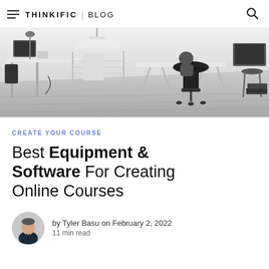THINKIFIC | BLOG
[Figure (photo): Black and white photo of a modern home office workspace with desks, monitors, and an office chair on a wooden floor.]
CREATE YOUR COURSE
Best Equipment & Software For Creating Online Courses
by Tyler Basu on February 2, 2022
11 min read